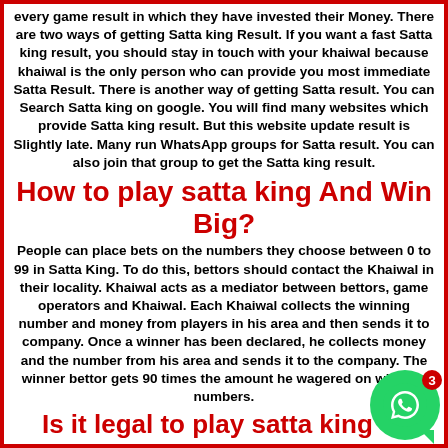every game result in which they have invested their Money. There are two ways of getting Satta king Result. If you want a fast Satta king result, you should stay in touch with your khaiwal because khaiwal is the only person who can provide you most immediate Satta Result. There is another way of getting Satta result. You can Search Satta king on google. You will find many websites which provide Satta king result. But this website update result is Slightly late. Many run WhatsApp groups for Satta result. You can also join that group to get the Satta king result.
How to play satta king And Win Big?
People can place bets on the numbers they choose between 0 to 99 in Satta King. To do this, bettors should contact the Khaiwal in their locality. Khaiwal acts as a mediator between bettors, game operators and Khaiwal. Each Khaiwal collects the winning number and money from players in his area and then sends it to company. Once a winner has been declared, he collects money and the number from his area and sends it to the company. The winner bettor gets 90 times the amount he wagered on winning numbers.
Is it legal to play satta king or Satta Matka online Game?
The local government determines the legality of the Satta online. In India, betting is illegal. If caught, you could be subject to a